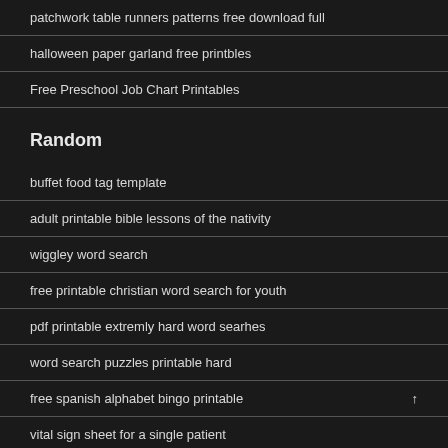patchwork table runners patterns free download full
halloween paper garland free printbles
Free Preschool Job Chart Printables
Random
buffet food tag template
adult printable bible lessons of the nativity
wiggley word search
free printable christian word search for youth
pdf printable extremly hard word searhes
word search puzzles printable hard
free spanish alphabet bingo printable
vital sign sheet for a single patient